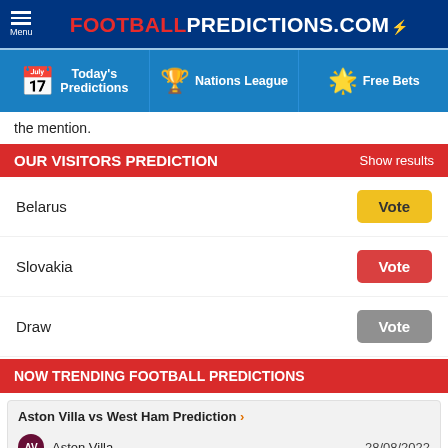FOOTBALLPREDICTIONS.COM
Today's Predictions | Nations League | Free Bets
the mention.
OUR VISITORS PREDICTION  Show results
Belarus  Vote
Slovakia  Vote
Draw  Vote
NOW TRENDING FOOTBALL PREDICTIONS
Aston Villa vs West Ham Prediction
| Team | Date/Time |
| --- | --- |
| Aston Villa | 28/08/2022 |
| West Ham | 09:00 AM |
Wolves vs Newcastle Prediction